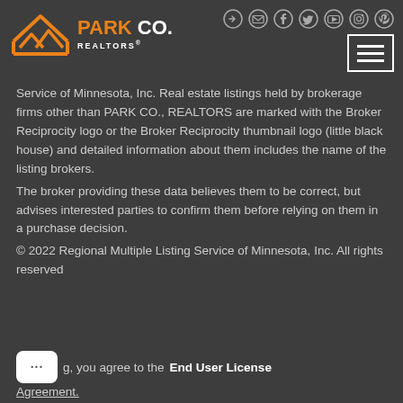[Figure (logo): Park Co. Realtors logo with orange house icon and social media icons in header]
Service of Minnesota, Inc. Real estate listings held by brokerage firms other than PARK CO., REALTORS are marked with the Broker Reciprocity logo or the Broker Reciprocity thumbnail logo (little black house) and detailed information about them includes the name of the listing brokers.
The broker providing these data believes them to be correct, but advises interested parties to confirm them before relying on them in a purchase decision.
© 2022 Regional Multiple Listing Service of Minnesota, Inc. All rights reserved
g, you agree to the  End User License Agreement.